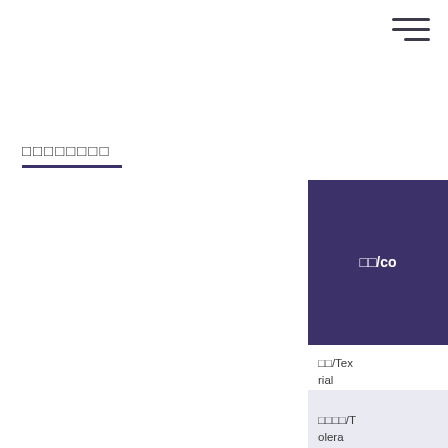[Figure (other): Hamburger menu icon with three horizontal lines, top right corner]
□□□□□□□□
[Figure (other): Dark purple/indigo rectangular box with white text '□□/co' (partially visible), part of a right-side navigation or content panel]
□□/Tex rial
□□□□/T olera
□□/Wi ge